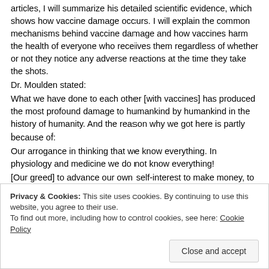articles, I will summarize his detailed scientific evidence, which shows how vaccine damage occurs. I will explain the common mechanisms behind vaccine damage and how vaccines harm the health of everyone who receives them regardless of whether or not they notice any adverse reactions at the time they take the shots.
Dr. Moulden stated:
What we have done to each other [with vaccines] has produced the most profound damage to humankind by humankind in the history of humanity. And the reason why we got here is partly because of:
Our arrogance in thinking that we know everything. In physiology and medicine we do not know everything!
[Our greed] to advance our own self-interest to make money, to sell products and to advance corporate alliances. Commercialization has overtaken the fundamental human value of “do unto others as you would have others do unto you.” When society turns toward this human value, then we would all be working together for the greater good of each other.
Privacy & Cookies: This site uses cookies. By continuing to use this website, you agree to their use.
To find out more, including how to control cookies, see here: Cookie Policy
Close and accept